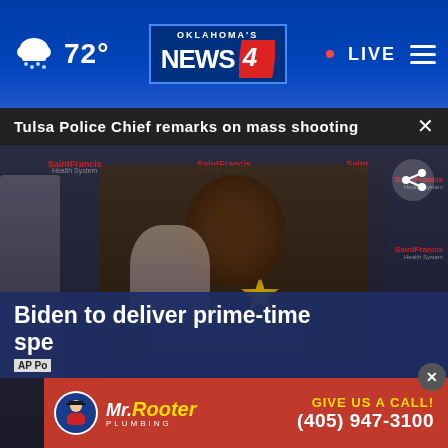72° OKLAHOMA'S NEWS 4 • LIVE
Tulsa Police Chief remarks on mass shooting ×
[Figure (screenshot): Police Chief speaking at podium in front of Saint Francis Health System backdrop, wearing dark uniform with badge. Other officials visible in background.]
Biden to deliver prime-time spe[ech]
AP Po[lice]
[Figure (advertisement): Mr. Rooter Plumbing advertisement banner in red. Text: GIVE US A CALL! (405) 947-3100]